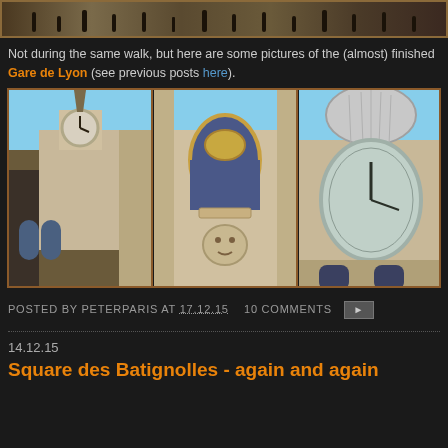[Figure (photo): Top strip showing a crowd of people at what appears to be a train station or public space, partial view]
Not during the same walk, but here are some pictures of the (almost) finished Gare de Lyon (see previous posts here).
[Figure (photo): Three photos of Gare de Lyon in Paris: left shows the clock tower against blue sky, center shows ornate architectural detail with arched window and decorative sculpture, right shows close-up of the large oval clock face on the tower]
POSTED BY PETERPARIS AT 17.12.15   10 COMMENTS
14.12.15
Square des Batignolles - again and again